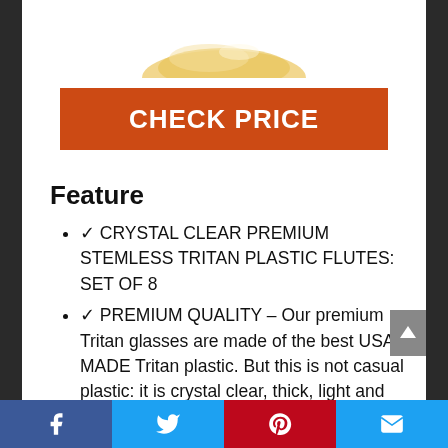[Figure (photo): Product photo — partial view of a crystal clear stemless plastic flute (champagne glass) with golden/amber tones, cropped at the top of the page]
CHECK PRICE
Feature
✓ CRYSTAL CLEAR PREMIUM STEMLESS TRITAN PLASTIC FLUTES: SET OF 8
✓ PREMIUM QUALITY – Our premium Tritan glasses are made of the best USA MADE Tritan plastic. But this is not casual plastic: it is crystal clear, thick, light and